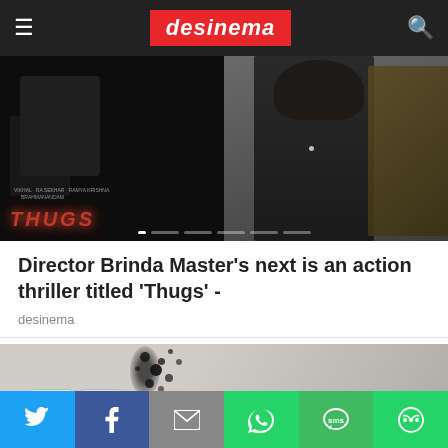desinema
[Figure (photo): Hero image split: left side shows a dark movie poster with the word 'Thugs' in red stylized text; right side shows a woman in a black outfit with an ornate shawl]
Director Brinda Master's next is an action thriller titled 'Thugs' -
desinema
[Figure (photo): Image showing a wall with black mold spots near an electrical outlet]